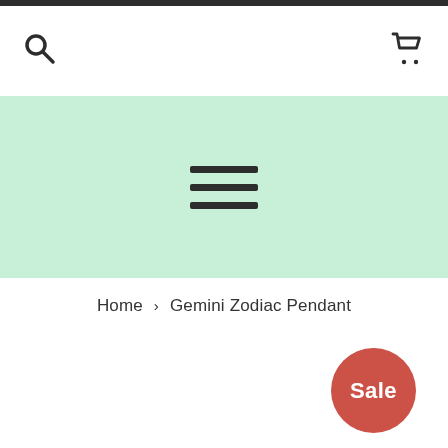[Figure (screenshot): Navigation header bar with search icon on left and shopping cart icon on right]
[Figure (screenshot): Light green navigation menu bar with hamburger menu icon (three horizontal lines)]
Home › Gemini Zodiac Pendant
Sale